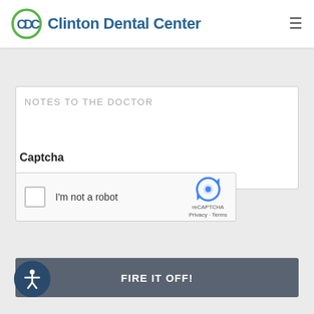[Figure (logo): Clinton Dental Center logo with circular CDC icon in green and blue, text 'Clinton Dental Center' in blue]
[Figure (screenshot): Form textarea with placeholder text 'NOTES TO THE DOCTOR']
Captcha
[Figure (screenshot): Google reCAPTCHA widget with checkbox, 'I'm not a robot' text, and reCAPTCHA logo with Privacy and Terms links]
[Figure (screenshot): Submit button labeled 'FIRE IT OFF!' in dark gray]
[Figure (screenshot): Accessibility icon button in bottom left corner]